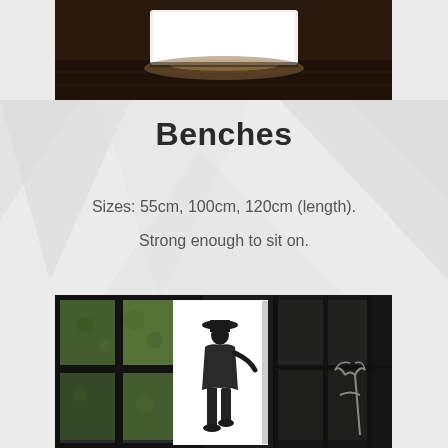[Figure (photo): Top photo showing a white illuminated bench/light box on a dark wooden surface, photographed from above at an angle.]
Benches
Sizes: 55cm, 100cm, 120cm (length).
Strong enough to sit on.
[Figure (photo): Bottom photo showing a white illuminated rectangular bench/light box with a black and white silhouette image of a person wearing a hat, standing in front of large windows looking out to a green garden. A decorative metal chair is partially visible on the right.]